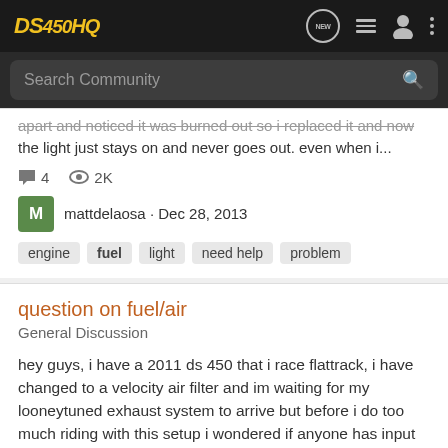DS450HQ
apart and noticed it was burned out so i replaced it and now the light just stays on and never goes out. even when i...
4  2K
mattdelaosa · Dec 28, 2013
engine  fuel  light  need help  problem
question on fuel/air
General Discussion
hey guys, i have a 2011 ds 450 that i race flattrack, i have changed to a velocity air filter and im waiting for my looneytuned exhaust system to arrive but before i do too much riding with this setup i wondered if anyone has input on this setup and if it will make my bike run leaner. with the...